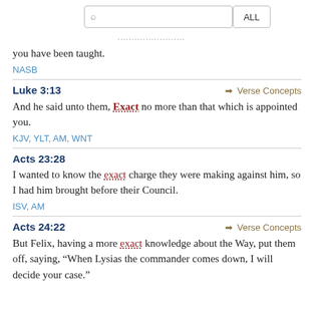you have been taught.
NASB
Luke 3:13
Verse Concepts
And he said unto them, Exact no more than that which is appointed you.
KJV, YLT, AM, WNT
Acts 23:28
I wanted to know the exact charge they were making against him, so I had him brought before their Council.
ISV, AM
Acts 24:22
Verse Concepts
But Felix, having a more exact knowledge about the Way, put them off, saying, “When Lysias the commander comes down, I will decide your case.”